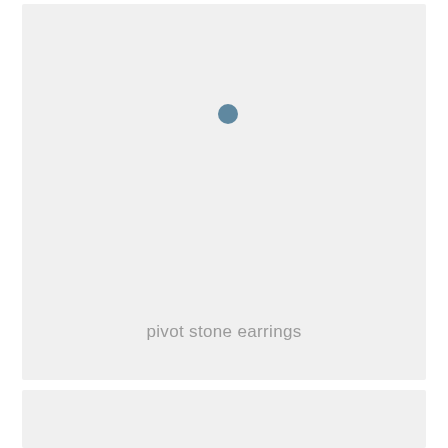[Figure (photo): Product card with light gray background showing a single small blue-gray dot (representing a stone earring) centered in the upper portion of the card]
pivot stone earrings